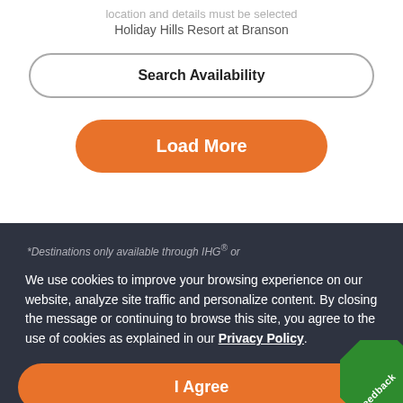location and details must be selected
Holiday Hills Resort at Branson
Search Availability
Load More
*Destinations only available through IHG® or
We use cookies to improve your browsing experience on our website, analyze site traffic and personalize content. By closing the message or continuing to browse this site, you agree to the use of cookies as explained in our Privacy Policy.
I Agree
Feedback